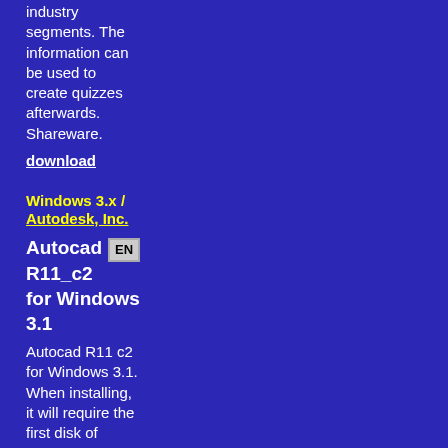industry segments. The information can be used to create quizzes afterwards. Shareware.
download
Windows 3.x / Autodesk, Inc.
Autocad R11_c2 for Windows 3.1
Autocad R11 c2 for Windows 3.1. When installing, it will require the first disk of AutoCAD R11 for DOS (also downloadable in this web).
download
Windows 3.x /